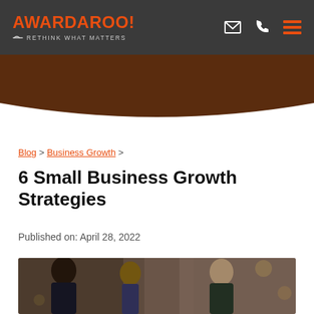AWARDAROO! RETHINK WHAT MATTERS
Blog > Business Growth >
6 Small Business Growth Strategies
Published on: April 28, 2022
[Figure (photo): People in conversation at an outdoor setting, business meeting scene]